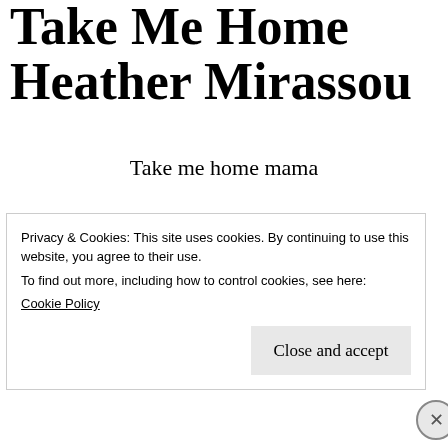Take Me Home Heather Mirassou
Take me home mama
To a place I once belonged
Hold my hand steady
Privacy & Cookies: This site uses cookies. By continuing to use this website, you agree to their use.
To find out more, including how to control cookies, see here:
Cookie Policy
Close and accept